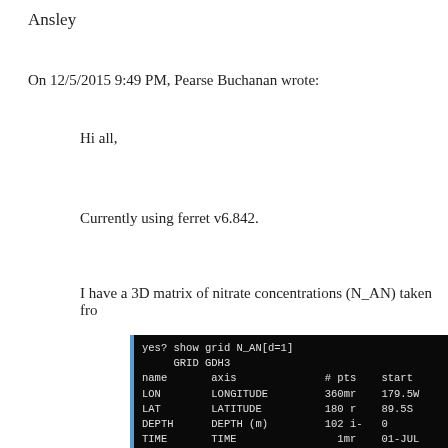Ansley
On 12/5/2015 9:49 PM, Pearse Buchanan wrote:
Hi all,
Currently using ferret v6.842.
I have a 3D matrix of nitrate concentrations (N_AN) taken fro
[Figure (screenshot): Terminal output showing: yes? show grid N_AN[d=1] / GRID GDH3 / name axis # pts start / LON LONGITUDE 360mr 179.5W / LAT LATITUDE 180 r 89.5S / DEPTH DEPTH (m) 102 i- 0 / TIME TIME 1mr 01-JUL / normal F]